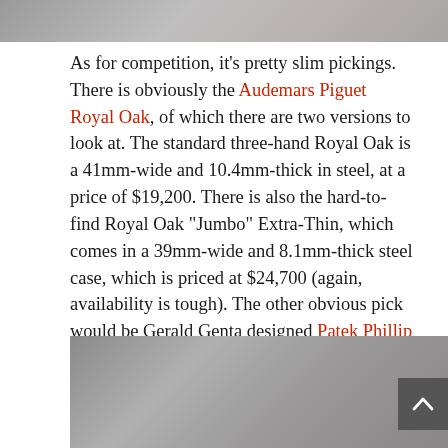[Figure (photo): Partial photo at top of page, blurred/grayscale image, cropped]
As for competition, it's pretty slim pickings. There is obviously the Audemars Piguet Royal Oak, of which there are two versions to look at. The standard three-hand Royal Oak is a 41mm-wide and 10.4mm-thick in steel, at a price of $19,200. There is also the hard-to-find Royal Oak “Jumbo” Extra-Thin, which comes in a 39mm-wide and 8.1mm-thick steel case, which is priced at $24,700 (again, availability is tough). The other obvious pick would be Gerald Genta designed Patek Phillip Nautilus in steel measuring 40mm-wide and 8.3mm-thick. It’s almost a joke to mention the list price of $29,800 but there you have it.
[Figure (photo): Photo at bottom of page showing watch or watch-related items, grayscale]
[Figure (other): Back-to-top navigation button, dark gray with white chevron arrow]